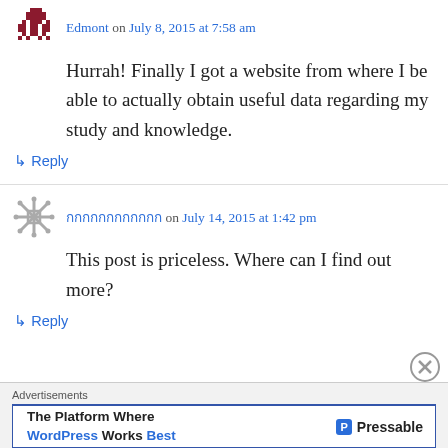Edmont on July 8, 2015 at 7:58 am
Hurrah! Finally I got a website from where I be able to actually obtain useful data regarding my study and knowledge.
↳ Reply
กกกกกกกกกกกก on July 14, 2015 at 1:42 pm
This post is priceless. Where can I find out more?
↳ Reply
Advertisements The Platform Where WordPress Works Best — Pressable